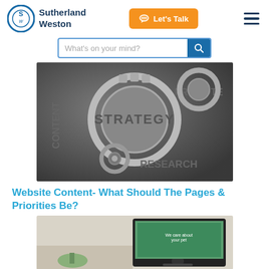[Figure (logo): Sutherland Weston company logo with circular SW emblem and text]
[Figure (other): Orange 'Let's Talk' button with chat icon]
[Figure (other): Hamburger navigation menu icon (three horizontal lines)]
[Figure (other): Search bar with placeholder 'What's on your mind?' and blue search button]
[Figure (photo): Close-up photo of interlocking metal gears with words STRATEGY, CONTENT, PROMOTE, RESEARCH embossed on them]
Website Content- What Should The Pages & Priorities Be?
[Figure (screenshot): Screenshot of a website showing a pet care themed page displayed on a laptop/monitor]